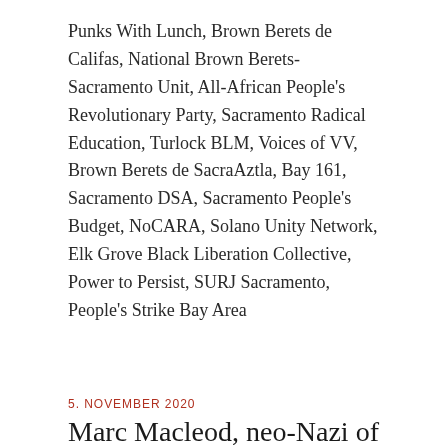Punks With Lunch, Brown Berets de Califas, National Brown Berets- Sacramento Unit, All-African People's Revolutionary Party, Sacramento Radical Education, Turlock BLM, Voices of VV, Brown Berets de SacraAztla, Bay 161, Sacramento DSA, Sacramento People's Budget, NoCARA, Solano Unity Network, Elk Grove Black Liberation Collective, Power to Persist, SURJ Sacramento, People's Strike Bay Area
5. NOVEMBER 2020
Marc Macleod, neo-Nazi of Citrus Heights folkbuilder coordinator in Asatru Folk Assembly
Introduction